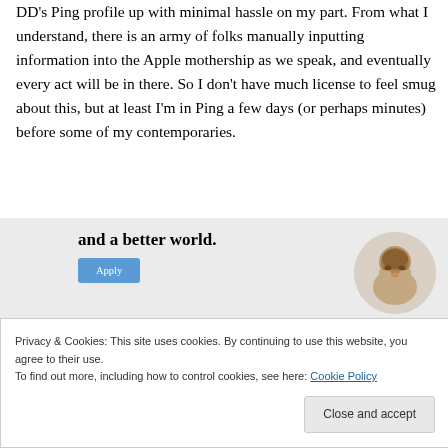DD's Ping profile up with minimal hassle on my part. From what I understand, there is an army of folks manually inputting information into the Apple mothership as we speak, and eventually every act will be in there. So I don't have much license to feel smug about this, but at least I'm in Ping a few days (or perhaps minutes) before some of my contemporaries.
[Figure (infographic): Advertisement banner with bold text 'and a better world.' and a blue Apply button, with a circular photo of a man thinking]
Privacy & Cookies: This site uses cookies. By continuing to use this website, you agree to their use.
To find out more, including how to control cookies, see here: Cookie Policy
Close and accept